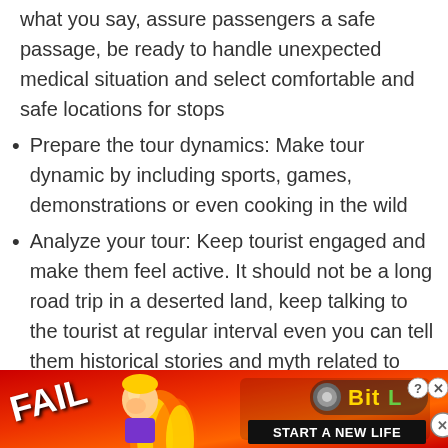what you say, assure passengers a safe passage, be ready to handle unexpected medical situation and select comfortable and safe locations for stops
Prepare the tour dynamics: Make tour dynamic by including sports, games, demonstrations or even cooking in the wild
Analyze your tour: Keep tourist engaged and make them feel active. It should not be a long road trip in a deserted land, keep talking to the tourist at regular interval even you can tell them historical stories and myth related to that.  Carry extra binoculars and pass it to passengers to have a better view, this will leave an impact on tourist
[Figure (screenshot): Advertisement banner for BitLife mobile game showing FAIL text with cartoon character, flames, and 'START A NEW LIFE' text on red background]